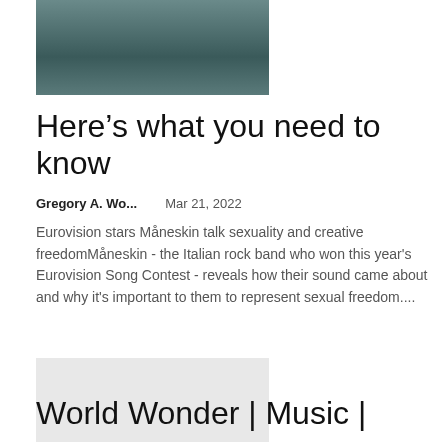[Figure (photo): Photo of a person with blonde hair wearing a dark teal/green zippered jacket, hands on hips, partially cropped at top]
Here’s what you need to know
Gregory A. Wo...    Mar 21, 2022
Eurovision stars Måneskin talk sexuality and creative freedomMåneskin - the Italian rock band who won this year's Eurovision Song Contest - reveals how their sound came about and why it's important to them to represent sexual freedom....
[Figure (photo): Placeholder image (light gray rectangle)]
World Wonder | Music |